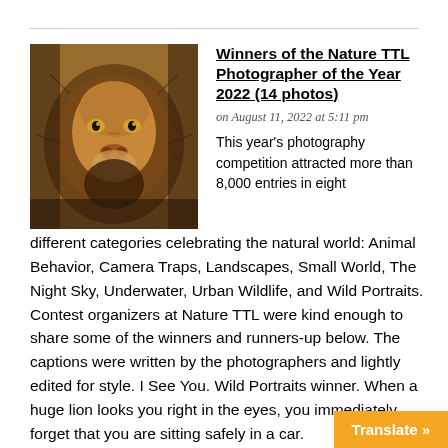[Figure (photo): Close-up photograph of a lion's face with golden/brown fur, looking directly at the camera with intense golden eyes.]
Winners of the Nature TTL Photographer of the Year 2022 (14 photos)
on August 11, 2022 at 5:11 pm
This year's photography competition attracted more than 8,000 entries in eight different categories celebrating the natural world: Animal Behavior, Camera Traps, Landscapes, Small World, The Night Sky, Underwater, Urban Wildlife, and Wild Portraits. Contest organizers at Nature TTL were kind enough to share some of the winners and runners-up below. The captions were written by the photographers and lightly edited for style. I See You. Wild Portraits winner. When a huge lion looks you right in the eyes, you immediately forget that you are sitting safely in a car.